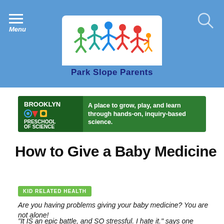[Figure (logo): Park Slope Parents logo with colorful paper-doll figures holding hands in an arc, on a white rounded background, with blue header bar. Menu icon on left, search icon on right.]
[Figure (infographic): Brooklyn Preschool of Science advertisement banner. Green background with dark green left section showing logo text and icons. Right section reads: A place to grow, play, and learn through hands-on, inquiry-based science.]
How to Give a Baby Medicine
KID RELATED HEALTH
Are you having problems giving your baby medicine? You are not alone!
"It IS an epic battle, and SO stressful. I hate it." says one